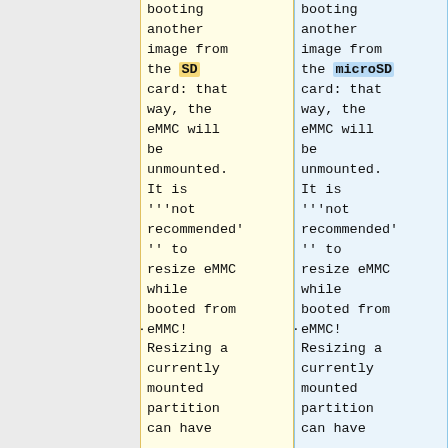booting another image from the SD card: that way, the eMMC will be unmounted. It is '''not recommended'' to resize eMMC while booted from eMMC! Resizing a currently mounted partition can have
booting another image from the microSD card: that way, the eMMC will be unmounted. It is '''not recommended'' to resize eMMC while booted from eMMC! Resizing a currently mounted partition can have